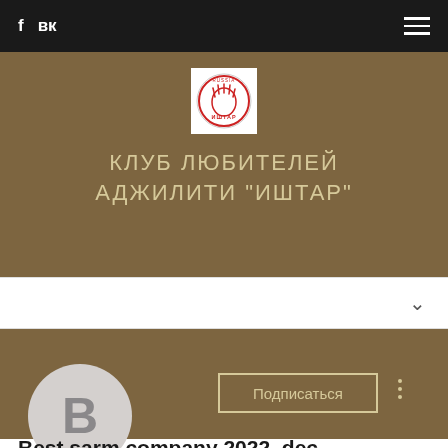f  вк  ☰
[Figure (logo): Ishtar Russia club logo — circular red stamp with hand image]
КЛУБ ЛЮБИТЕЛЕЙ АДЖИЛИТИ "ИШТАР"
∨
[Figure (illustration): Brown profile banner with avatar placeholder circle showing letter B, subscribe button labeled Подписаться, and three-dot menu icon]
Best sarm company 2022, dec...
0 Подписчики • 0 Подписки